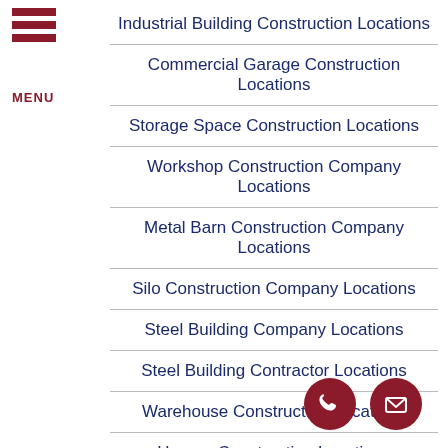Industrial Building Construction Locations
Commercial Garage Construction Locations
Storage Space Construction Locations
Workshop Construction Company Locations
Metal Barn Construction Company Locations
Silo Construction Company Locations
Steel Building Company Locations
Steel Building Contractor Locations
Warehouse Construction Locations
Hangar Construction Locations
Commercial Building Additions Locations
Commercial Metal Buildings Locations